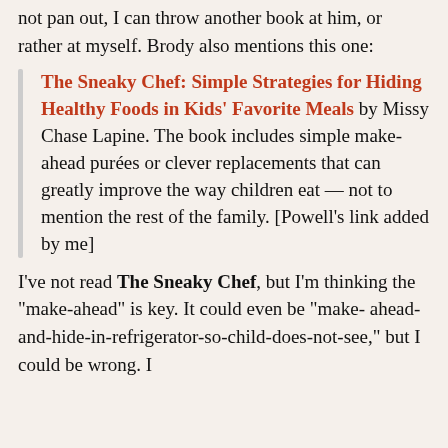not pan out, I can throw another book at him, or rather at myself. Brody also mentions this one:
The Sneaky Chef: Simple Strategies for Hiding Healthy Foods in Kids' Favorite Meals by Missy Chase Lapine. The book includes simple make-ahead purées or clever replacements that can greatly improve the way children eat — not to mention the rest of the family. [Powell's link added by me]
I've not read The Sneaky Chef, but I'm thinking the "make-ahead" is key. It could even be "make- ahead-and-hide-in-refrigerator-so-child-does-not-see," but I could be wrong. I